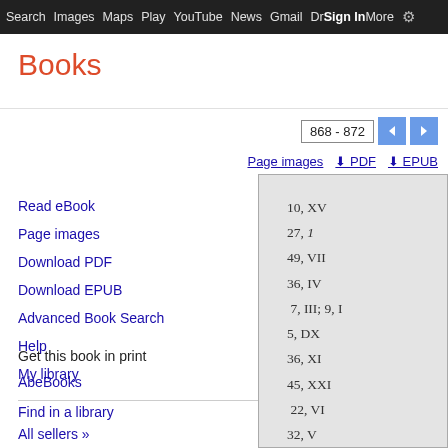Search  Images  Maps  Play  YouTube  News  Gmail  Drive  More  Sign in  Settings
Books
868 - 872
Page images
PDF
EPUB
Read eBook
Page images
Download PDF
Download EPUB
Advanced Book Search
Help
My library
Get this book in print
AbeBooks
Find in a library
All sellers »
10, XV
27, 1
49, VII
36, IV
7, III; 9, I
5, DX
36, XI
45, XXI
22, VI
32, V
33, DI; 36, II
48, 51
20, VI